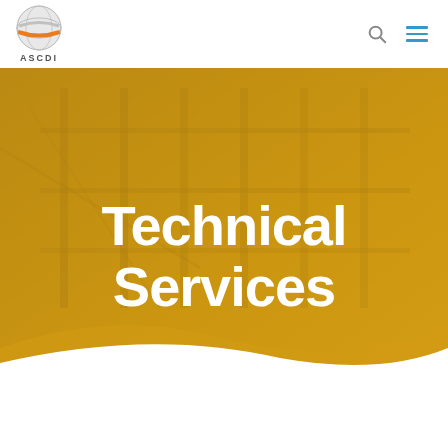[Figure (logo): ASCDI globe logo with orange and silver stripes, text ASCDI below]
Technical Services
[Figure (photo): Hero banner background showing industrial shelving/warehouse in warm golden yellow overlay tone, with a white wave shape at the bottom]